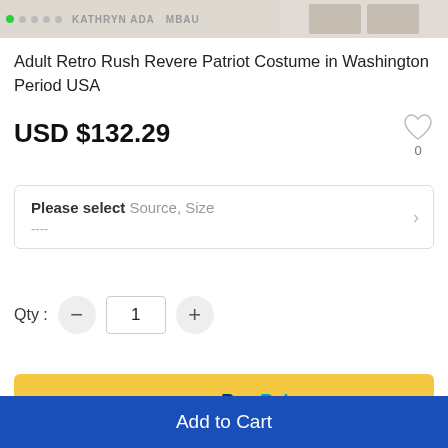[Figure (photo): Product image carousel showing costume, with dot navigation on the left side and thumbnail images on the right]
Adult Retro Rush Revere Patriot Costume in Washington Period USA
USD $132.29
[Figure (illustration): Heart/wishlist icon with count 0]
Please select Source, Size
----
Qty : 1
[Figure (screenshot): PayPal payment button - yellow background with 'Pay with PayPal' text]
[Figure (screenshot): Add to Cart button - blue background with white text]